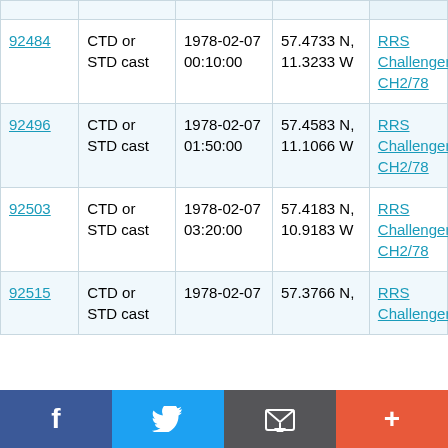| ID | Type | Date/Time | Location | Cruise |
| --- | --- | --- | --- | --- |
| 92484 | CTD or STD cast | 1978-02-07 00:10:00 | 57.4733 N, 11.3233 W | RRS Challenger CH2/78 |
| 92496 | CTD or STD cast | 1978-02-07 01:50:00 | 57.4583 N, 11.1066 W | RRS Challenger CH2/78 |
| 92503 | CTD or STD cast | 1978-02-07 03:20:00 | 57.4183 N, 10.9183 W | RRS Challenger CH2/78 |
| 92515 | CTD or STD cast | 1978-02-07 | 57.3766 N, | RRS Challenger |
[Figure (infographic): Social sharing bar with Facebook, Twitter, email, and add buttons]